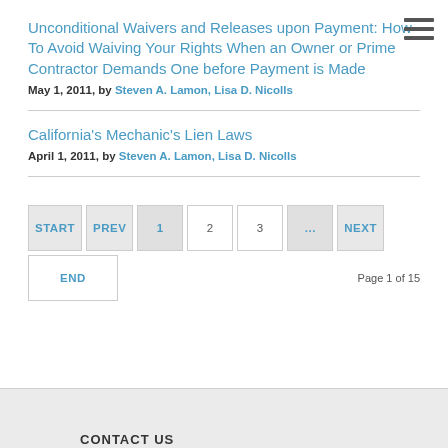Unconditional Waivers and Releases upon Payment: How To Avoid Waiving Your Rights When an Owner or Prime Contractor Demands One before Payment is Made
May 1, 2011, by Steven A. Lamon, Lisa D. Nicolls
California's Mechanic's Lien Laws
April 1, 2011, by Steven A. Lamon, Lisa D. Nicolls
START  PREV  1  2  3  ...  NEXT  END  Page 1 of 15